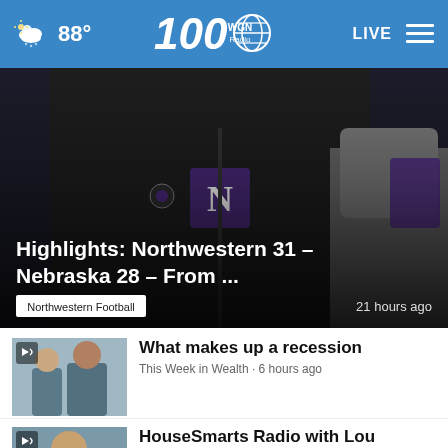88° WGN Radio 100 LIVE
[Figure (photo): Northwestern Football photo showing person wearing Northwestern jacket with N logo, with another person in grey suit visible. Overlay text: Highlights: Northwestern 31 – Nebraska 28 – From ... | Northwestern Football | 21 hours ago]
Highlights: Northwestern 31 – Nebraska 28 – From ...
Northwestern Football · 21 hours ago
[Figure (photo): Thumbnail photo with audio icon - two people, man and woman]
What makes up a recession
This Week in Wealth · 6 hours ago
[Figure (photo): Thumbnail photo with audio icon - older man smiling]
HouseSmarts Radio with Lou Manfredini | 8.27.22
Lou Manfredini · 42 mins ago
[Figure (photo): Thumbnail photo with audio icon - partial view]
Home Sweet Home Chicago